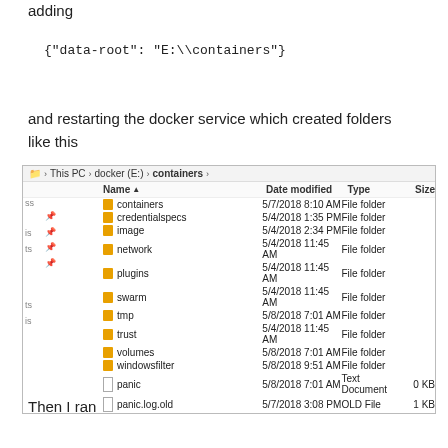adding
and restarting the docker service which created folders like this
[Figure (screenshot): Windows Explorer screenshot showing the contents of E:\containers folder with subfolders: containers, credentialspecs, image, network, plugins, swarm, tmp, trust, volumes, windowsfilter, and files: panic (Text Document, 0 KB), panic.log.old (OLD File, 1 KB)]
Then I ran